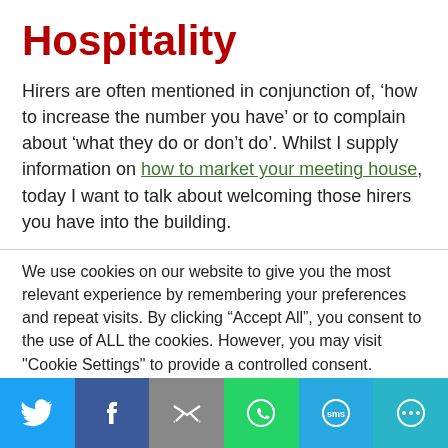Hospitality
Hirers are often mentioned in conjunction of, ‘how to increase the number you have’ or to complain about ‘what they do or don’t do’. Whilst I supply information on how to market your meeting house, today I want to talk about welcoming those hirers you have into the building.
We use cookies on our website to give you the most relevant experience by remembering your preferences and repeat visits. By clicking “Accept All”, you consent to the use of ALL the cookies. However, you may visit "Cookie Settings" to provide a controlled consent.
Social share bar: Twitter, Facebook, Email, WhatsApp, SMS, More